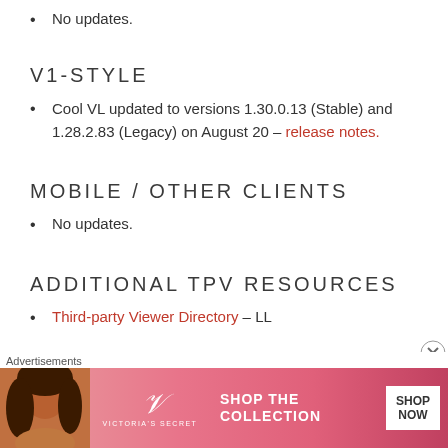No updates.
V1-STYLE
Cool VL updated to versions 1.30.0.13 (Stable) and 1.28.2.83 (Legacy) on August 20 – release notes.
MOBILE / OTHER CLIENTS
No updates.
ADDITIONAL TPV RESOURCES
Third-party Viewer Directory – LL
Advertisements
[Figure (photo): Victoria's Secret advertisement banner with woman, logo, SHOP THE COLLECTION text, and SHOP NOW button]